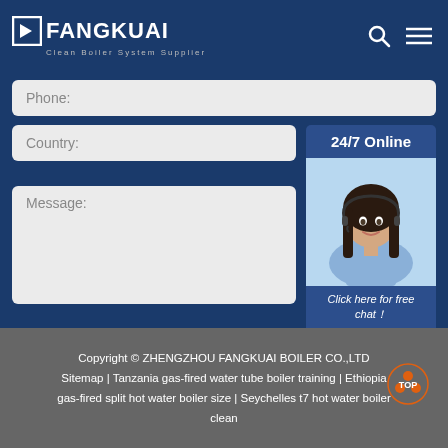FANGKUAI Clean Boiler System Supplier
Phone:
Country:
[Figure (photo): 24/7 online support widget showing a smiling woman with headset, with 'Click here for free chat!' text and QUOTATION button]
Message:
Submit Now
Copyright © ZHENGZHOU FANGKUAI BOILER CO.,LTD Sitemap | Tanzania gas-fired water tube boiler training | Ethiopia gas-fired split hot water boiler size | Seychelles t7 hot water boiler clean